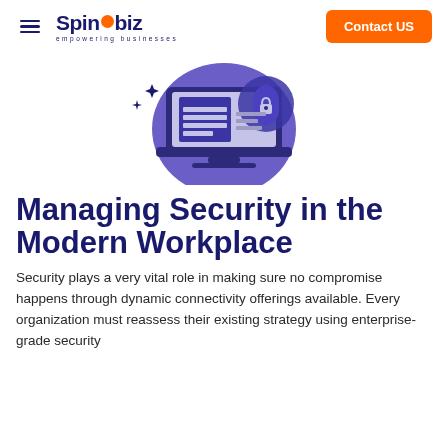Spinebiz empowering businesses | Contact US
[Figure (illustration): Illustration of a laptop screen with a document/shield security icon and lock, purple and dark navy color scheme, with decorative elements around it.]
Managing Security in the Modern Workplace
Security plays a very vital role in making sure no compromise happens through dynamic connectivity offerings available. Every organization must reassess their existing strategy using enterprise-grade security solutions with enterprise-level security current